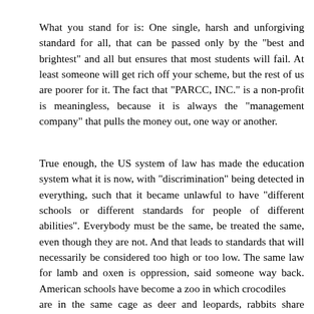What you stand for is: One single, harsh and unforgiving standard for all, that can be passed only by the "best and brightest" and all but ensures that most students will fail. At least someone will get rich off your scheme, but the rest of us are poorer for it. The fact that "PARCC, INC." is a non-profit is meaningless, because it is always the "management company" that pulls the money out, one way or another.
True enough, the US system of law has made the education system what it is now, with "discrimination" being detected in everything, such that it became unlawful to have "different schools or different standards for people of different abilities". Everybody must be the same, be treated the same, even though they are not. And that leads to standards that will necessarily be considered too high or too low. The same law for lamb and oxen is oppression, said someone way back. American schools have become a zoo in which crocodiles are in the same cage as deer and leopards, rabbits share quarters with birds of prey, snakes are in the monkey